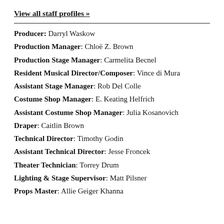View all staff profiles »
Producer: Darryl Waskow
Production Manager: Chloë Z. Brown
Production Stage Manager: Carmelita Becnel
Resident Musical Director/Composer: Vince di Mura
Assistant Stage Manager: Rob Del Colle
Costume Shop Manager: E. Keating Helfrich
Assistant Costume Shop Manager: Julia Kosanovich
Draper: Caitlin Brown
Technical Director: Timothy Godin
Assistant Technical Director: Jesse Froncek
Theater Technician: Torrey Drum
Lighting & Stage Supervisor: Matt Pilsner
Props Master: Allie Geiger Khanna